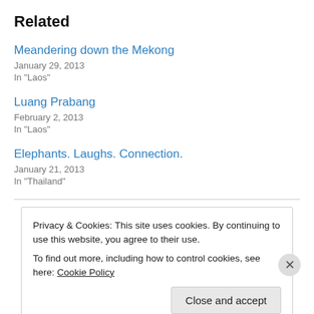Related
Meandering down the Mekong
January 29, 2013
In "Laos"
Luang Prabang
February 2, 2013
In "Laos"
Elephants. Laughs. Connection.
January 21, 2013
In "Thailand"
Privacy & Cookies: This site uses cookies. By continuing to use this website, you agree to their use.
To find out more, including how to control cookies, see here: Cookie Policy
Close and accept